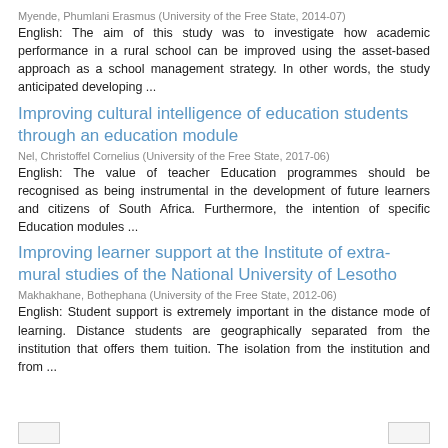Myende, Phumlani Erasmus (University of the Free State, 2014-07)
English: The aim of this study was to investigate how academic performance in a rural school can be improved using the asset-based approach as a school management strategy. In other words, the study anticipated developing ...
Improving cultural intelligence of education students through an education module
Nel, Christoffel Cornelius (University of the Free State, 2017-06)
English: The value of teacher Education programmes should be recognised as being instrumental in the development of future learners and citizens of South Africa. Furthermore, the intention of specific Education modules ...
Improving learner support at the Institute of extra-mural studies of the National University of Lesotho
Makhakhane, Bothephana (University of the Free State, 2012-06)
English: Student support is extremely important in the distance mode of learning. Distance students are geographically separated from the institution that offers them tuition. The isolation from the institution and from ...